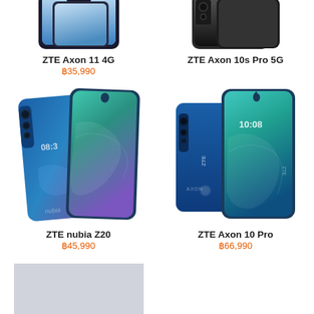[Figure (photo): ZTE Axon 11 4G smartphone product image (partial, cropped at top)]
ZTE Axon 11 4G
฿35,990
[Figure (photo): ZTE Axon 10s Pro 5G smartphone product image (partial, cropped at top)]
ZTE Axon 10s Pro 5G
[Figure (photo): ZTE nubia Z20 smartphone product image - blue gradient dual screen phone]
ZTE nubia Z20
฿45,990
[Figure (photo): ZTE Axon 10 Pro smartphone product image - blue phone with teal display]
ZTE Axon 10 Pro
฿66,990
[Figure (photo): Partially visible smartphone product image placeholder (gray box)]